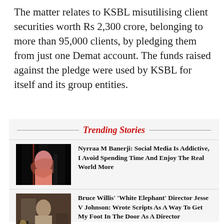The matter relates to KSBL misutilising client securities worth Rs 2,300 crore, belonging to more than 95,000 clients, by pledging them from just one Demat account. The funds raised against the pledge were used by KSBL for itself and its group entities.
Trending Stories
[Figure (photo): Photo of a woman in a pink outfit at a beach/sunset setting]
Nyrraa M Banerji: Social Media Is Addictive, I Avoid Spending Time And Enjoy The Real World More
[Figure (photo): Photo of a man (Bruce Willis) in an indoor setting]
Bruce Willis' 'White Elephant' Director Jesse V Johnson: Wrote Scripts As A Way To Get My Foot In The Door As A Director